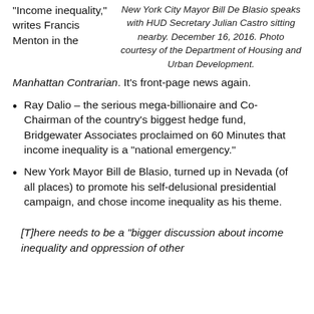“Income inequality,” writes Francis Menton in the
New York City Mayor Bill De Blasio speaks with HUD Secretary Julian Castro sitting nearby. December 16, 2016. Photo courtesy of the Department of Housing and Urban Development.
Manhattan Contrarian. It’s front-page news again.
Ray Dalio – the serious mega-billionaire and Co-Chairman of the country’s biggest hedge fund, Bridgewater Associates proclaimed on 60 Minutes that income inequality is a “national emergency.”
New York Mayor Bill de Blasio, turned up in Nevada (of all places) to promote his self-delusional presidential campaign, and chose income inequality as his theme.
[T]here needs to be a “bigger discussion about income inequality and oppression of other